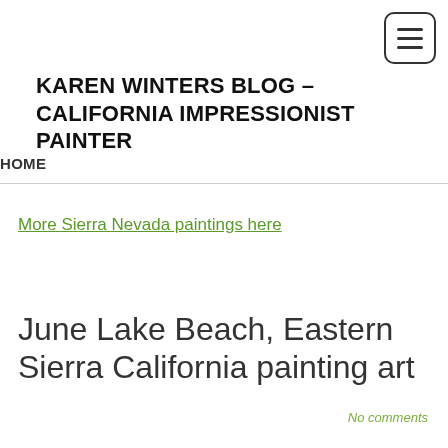[Figure (other): Hamburger menu button icon with three horizontal lines inside a rounded rectangle border]
KAREN WINTERS BLOG – CALIFORNIA IMPRESSIONIST PAINTER
HOME
More Sierra Nevada paintings here
June Lake Beach, Eastern Sierra California painting art
No comments